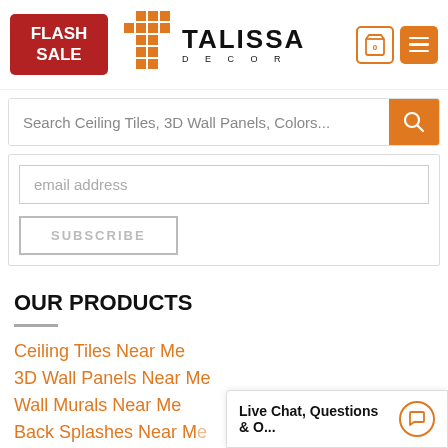[Figure (logo): Talissa Decor website header with Flash Sale badge, orange grid T logo, Talissa Decor brand name, cart icon showing 0, and hamburger menu icon]
Search Ceiling Tiles, 3D Wall Panels, Colors...
email address
SUBSCRIBE
OUR PRODUCTS
Ceiling Tiles Near Me
3D Wall Panels Near Me
Wall Murals Near Me
Back Splashes Near Me
Styrofoam Tiles Near Me
Live Chat, Questions & O...